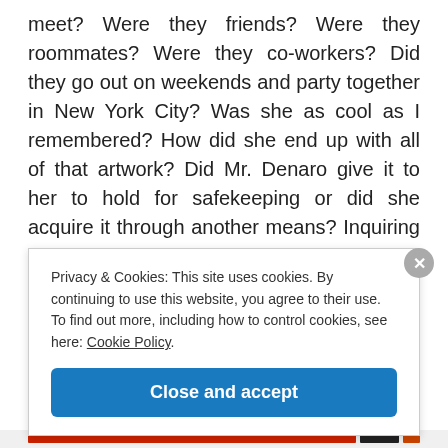meet? Were they friends? Were they roommates? Were they co-workers? Did they go out on weekends and party together in New York City? Was she as cool as I remembered? How did she end up with all of that artwork? Did Mr. Denaro give it to her to hold for safekeeping or did she acquire it through another means? Inquiring minds want to know!
My instincts tell me to leave it alone. Maybe we aren't
Privacy & Cookies: This site uses cookies. By continuing to use this website, you agree to their use.
To find out more, including how to control cookies, see here: Cookie Policy
Close and accept